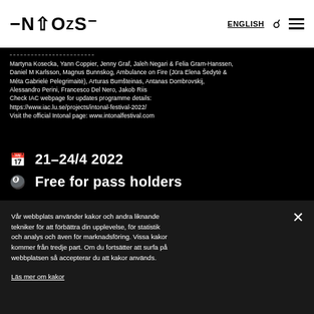INTONAL (logo) | ENGLISH | search | menu
Martyna Kosecka, Yann Coppier, Jenny Graf, Jaleh Negari & Felia Gram-Hanssen, Daniel M Karlsson, Magnus Bunnskog, Ambulance on Fire (Jūra Elena Šedytė & Méta Gabrielė Pelegrimaitė), Arturas Bumšteinas, Antanas Dombrovskij, Alessandro Perini, Francesco Del Nero, Jakob Riis
Check IAC webpage for updates programme details:
https://www.iac.lu.se/projects/intonal-festival-2022/
Visit the official Intonal page: www.intonalfestival.com
21–24/4 2022
Free for pass holders
Vår webbplats använder kakor och andra liknande tekniker för att förbättra din upplevelse, för statistik och analys och även för marknadsföring. Vissa kakor kommer från tredje part. Om du fortsätter att surfa på webbplatsen så accepterar du att kakor används.
Läs mer om kakor